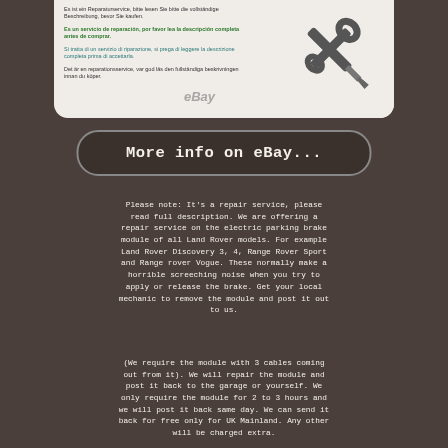[Figure (infographic): eBay repair service listing image showing multilingual text (German, Spanish, Italian, Swedish) and crossed screwdriver and wrench tools icon with eBay watermark]
[Figure (other): More info on eBay... button with rounded rectangle border]
Please note: It's a repair service, please read full description. We are offering a repair service on the electric parking brake module of all Land Rover models. For example Land Rover Discovery 3, 4, Range Rover Sport and Range rover Vogue. These normally make a horrible screeching noise when you try to apply or release the brake. Get your local mechanic to remove the module and post it out to us.
(We require the module with 3 cables coming out from it). We will repair the module and post it back to the garage or yourself. We only require the module for 2 to 3 hours and we will post it back same day. We can send it back for free only for UK Mainland. Any other will be charged extra.